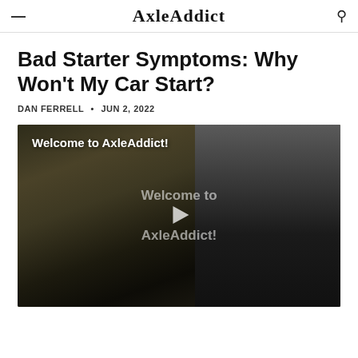AxleAddict
Bad Starter Symptoms: Why Won't My Car Start?
DAN FERRELL • JUN 2, 2022
[Figure (screenshot): Video thumbnail with dark motorcycle image overlay and text 'Welcome to AxleAddict!' with a play button in the center showing 'Welcome to AxleAddict!']